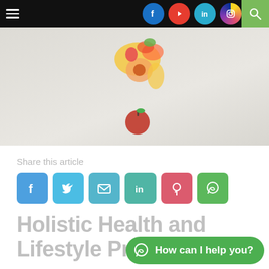[Figure (screenshot): Website navigation bar with hamburger menu, social media icons (Facebook, YouTube, LinkedIn, Instagram), and green search button]
[Figure (photo): Hero image on light grey background showing a question mark shape formed from various fruits including pineapple, peach, apple, and berries]
Share this article
[Figure (infographic): Social sharing buttons: Facebook, Twitter, Email, LinkedIn, Pinterest, WhatsApp]
Holistic Health and Lifestyle Program
[Figure (infographic): WhatsApp chat widget with text 'How can I help you?']